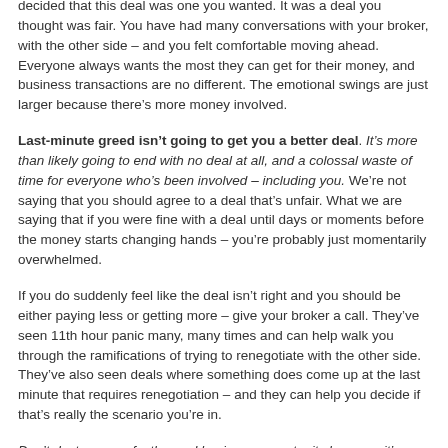decided that this deal was one you wanted. It was a deal you thought was fair. You have had many conversations with your broker, with the other side – and you felt comfortable moving ahead. Everyone always wants the most they can get for their money, and business transactions are no different. The emotional swings are just larger because there's more money involved.
Last-minute greed isn't going to get you a better deal. It's more than likely going to end with no deal at all, and a colossal waste of time for everyone who's been involved – including you. We're not saying that you should agree to a deal that's unfair. What we are saying that if you were fine with a deal until days or moments before the money starts changing hands – you're probably just momentarily overwhelmed.
If you do suddenly feel like the deal isn't right and you should be either paying less or getting more – give your broker a call. They've seen 11th hour panic many, many times and can help walk you through the ramifications of trying to renegotiate with the other side. They've also seen deals where something does come up at the last minute that requires renegotiation – and they can help you decide if that's really the scenario you're in.
Don't destroy a perfectly good business opportunity because it's scary to take a big plunge. Look to your broker for help, and do your best to remain calm and rational all the way to closing.